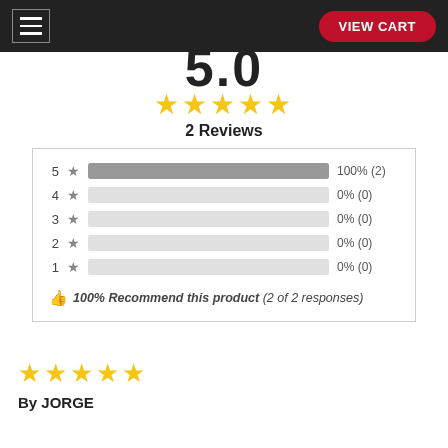VIEW CART
5.0
[Figure (other): 5 gold stars rating display]
2 Reviews
[Figure (bar-chart): Rating breakdown]
100% Recommend this product (2 of 2 responses)
[Figure (other): 5 gold stars review rating]
By JORGE